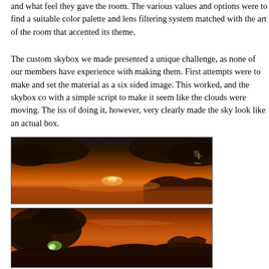and what feel they gave the room. The various values and options were to find a suitable color palette and lens filtering system matched with the art of the room that accented its theme.
The custom skybox we made presented a unique challenge, as none of our members have experience with making them. First attempts were to make and set the material as a six sided image. This worked, and the skybox could be used with a simple script to make it seem like the clouds were moving. The issue of doing it, however, very clearly made the sky look like an actual box.
[Figure (screenshot): Screenshot of a custom skybox showing a dramatic sunset/dusk scene with dark storm clouds over a reflective water surface, with a bright light source on the horizon. A UI element with colored arrows is visible in the upper right corner.]
[Figure (screenshot): Screenshot of a custom skybox showing a sunset landscape with large dark rock or cloud formations on the left, a warm orange-red sky, and rocky terrain silhouettes in the background. A glowing light source is visible near the lower left.]